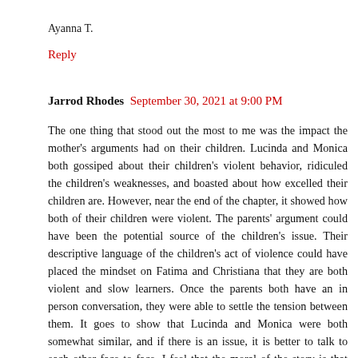Ayanna T.
Reply
Jarrod Rhodes  September 30, 2021 at 9:00 PM
The one thing that stood out the most to me was the impact the mother's arguments had on their children. Lucinda and Monica both gossiped about their children's violent behavior, ridiculed the children's weaknesses, and boasted about how excelled their children are. However, near the end of the chapter, it showed how both of their children were violent. The parents' argument could have been the potential source of the children's issue. Their descriptive language of the children's act of violence could have placed the mindset on Fatima and Christiana that they are both violent and slow learners. Once the parents both have an in person conversation, they were able to settle the tension between them. It goes to show that Lucinda and Monica were both somewhat similar, and if there is an issue, it is better to talk to each other face to face. I feel that the moral of the story is that black people are not so different with one